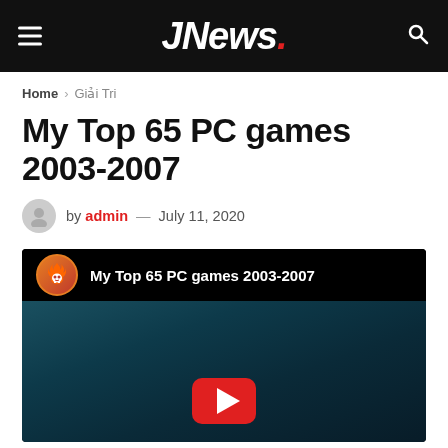JNews.
Home › Giải Tri
My Top 65 PC games 2003-2007
by admin — July 11, 2020
[Figure (screenshot): YouTube video embed showing 'My Top 65 PC games 2003-2007' with a channel avatar (skull with flames) and teal/dark background with YouTube play button]